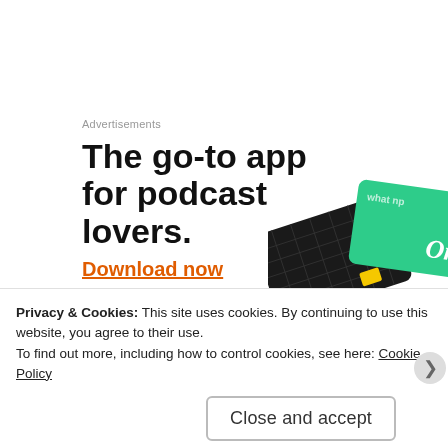Advertisements
[Figure (screenshot): Advertisement banner for a podcast app: bold headline 'The go-to app for podcast lovers.' with red 'Download now' link and graphic of two cards (dark and green) on the right]
Wanna know the BEST part about Cookin’ Greens products besides being healthy, natural and delicious? CONVENIENCE! All products are pre-washed, pre…
Privacy & Cookies: This site uses cookies. By continuing to use this website, you agree to their use.
To find out more, including how to control cookies, see here: Cookie Policy
Close and accept